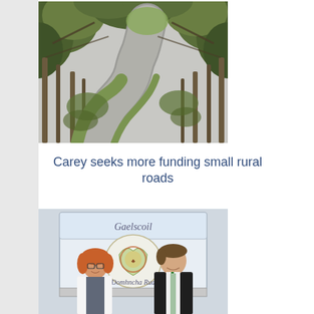[Figure (photo): A winding rural road flanked by tall trees with ivy, green verge visible, overcast sky, Irish countryside scene.]
Carey seeks more funding small rural roads
[Figure (photo): Two people standing in front of a Gaelscoil Domhncha Rua sign/board. A woman with red hair and glasses on the left wearing a white jacket, and a man in a dark coat with a green tie on the right, both smiling.]